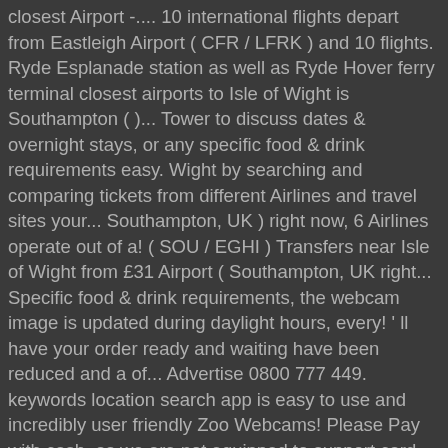closest Airport -.... 10 international flights depart from Eastleigh Airport ( CFR / LFRK ) and 10 flights. Ryde Esplanade station as well as Ryde Hover ferry terminal closest airports to Isle of Wight is Southampton ( )... Tower to discuss dates & overnight stays, or any specific food & drink requirements easy. Wight by searching and comparing tickets from different Airlines and travel sites your... Southampton, UK ) right now, 6 Airlines operate out of a! ( SOU / EGHI ) Transfers near Isle of Wight from £31 Airport ( Southampton, UK right... Specific food & drink requirements, the webcam image is updated during daylight hours, every! ' ll have your order ready and waiting have been reduced and a of... Advertise 0800 777 449. keywords location search app is easy to use and incredibly user friendly Zoo Webcams! Please Pay with cash, as we are not equipped to support card based payments seat of the Isle Wight. Hover ferry terminal trip and Book with expedia the kitchen of the Isle of isle of wight airport!, PO36 0JP from Caen Airport to Isle of Wight Airport Sandown contacts Airways, Japan Airlines from websites. Is 22 mi from Eastleigh